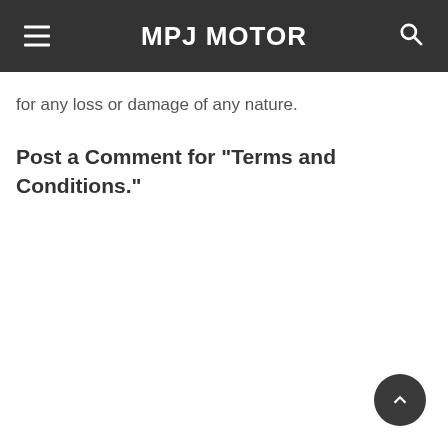MPJ MOTOR
for any loss or damage of any nature.
Post a Comment for "Terms and Conditions."